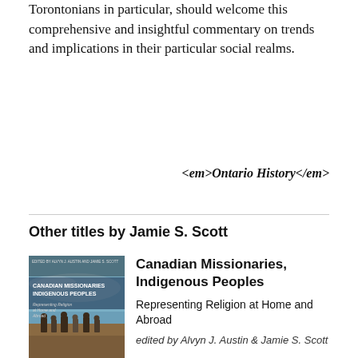Torontonians in particular, should welcome this comprehensive and insightful commentary on trends and implications in their particular social realms.
<em>Ontario History</em>
Other titles by Jamie S. Scott
[Figure (photo): Book cover of Canadian Missionaries, Indigenous Peoples showing people in a field with sky background]
Canadian Missionaries, Indigenous Peoples
Representing Religion at Home and Abroad
edited by Alvyn J. Austin & Jamie S. Scott